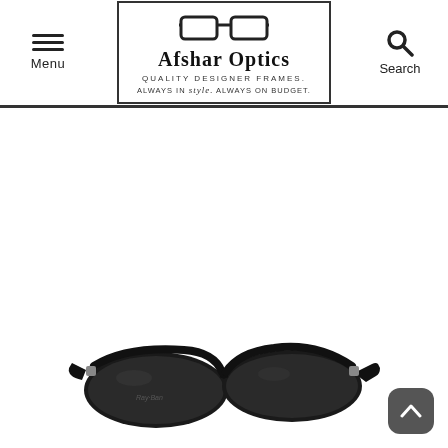Menu | Afshar Optics — QUALITY DESIGNER FRAMES. ALWAYS IN style. ALWAYS ON BUDGET. | Search
[Figure (photo): Black Ray-Ban style wraparound sunglasses with dark lenses photographed on a white background.]